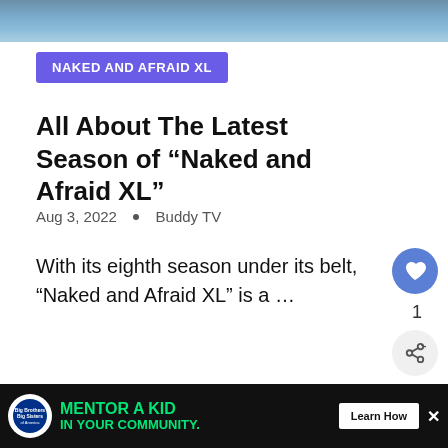[Figure (photo): Top portion of a dark blue/grey image, partially cropped]
NAKED AND AFRAID XL
All About The Latest Season of “Naked and Afraid XL”
Aug 3, 2022 • Buddy TV
With its eighth season under its belt, “Naked and Afraid XL” is a …
[Figure (screenshot): Bottom section showing a dark purple/maroon background with BELLE text in glowing letters, partially visible. What's Next panel showing Big Brother 8: Episode 31... and an advertisement bar for Big Brothers Big Sisters: MENTOR A KID IN YOUR COMMUNITY with a Learn How button]